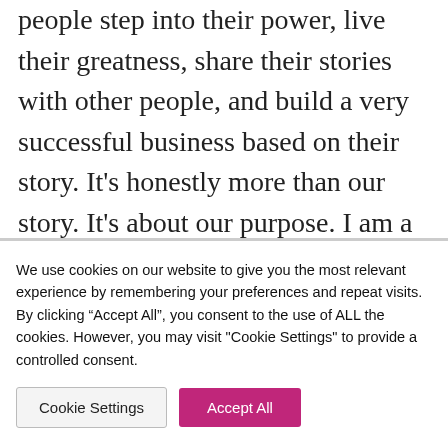people step into their power, live their greatness, share their stories with other people, and build a very successful business based on their story. It's honestly more than our story. It's about our purpose. I am a woman of faith. I believe God put us on a particular journey to be able to allow us to experience what we need so we can do something very specific. You've seen in some of our guests, and I've seen after talking to hundreds, if not thousands of women, how their journey, how their
We use cookies on our website to give you the most relevant experience by remembering your preferences and repeat visits. By clicking "Accept All", you consent to the use of ALL the cookies. However, you may visit "Cookie Settings" to provide a controlled consent.